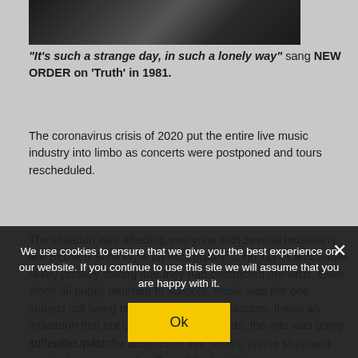[Figure (photo): Dark photo showing a person or instrument, partially visible, dark tones]
“It’s such a strange day, in such a lonely way” sang NEW ORDER on ‘Truth’ in 1981.
The coronavirus crisis of 2020 put the entire live music industry into limbo as concerts were postponed and tours rescheduled.
The situation was affecting everyone with several musicians like Bernard Sumner, Andy McCluskey, John Taylor and Sarah Nixey publicly stating that they had contracted the virus. Even when all pupils returned to schools, music was the one subject not being taught in English classrooms. It was an indication that out of all professional fields, the arts was going suffer the most.
To make up for the absence of live shows, online streamed events become popular. Two of the best live
We use cookies to ensure that we give you the best experience on our website. If you continue to use this site we will assume that you are happy with it.
Ok